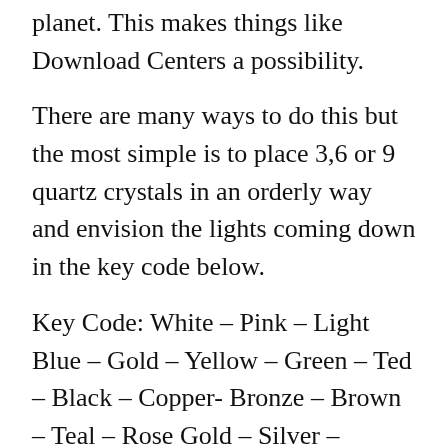planet. This makes things like Download Centers a possibility.
There are many ways to do this but the most simple is to place 3,6 or 9 quartz crystals in an orderly way and envision the lights coming down in the key code below.
Key Code: White – Pink – Light Blue – Gold – Yellow – Green – Ted – Black – Copper- Bronze – Brown – Teal – Rose Gold – Silver – Orange – Indigo – Violet – Platinum – Diamond – Rainbow.
You can do this into have the crystals and it